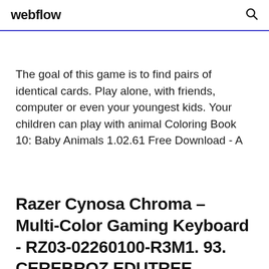webflow
The goal of this game is to find pairs of identical cards. Play alone, with friends, computer or even your youngest kids. Your children can play with animal Coloring Book 10: Baby Animals 1.02.61 Free Download - A
Razer Cynosa Chroma – Multi-Color Gaming Keyboard - RZ03-02260100-R3M1. 93. CEREBROZ EDUTREE EduKey 2.4GHz Mini